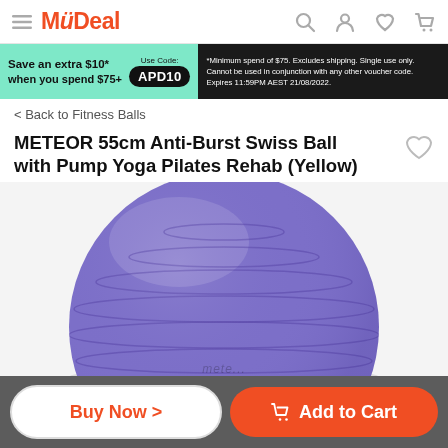MyDeal
[Figure (screenshot): MyDeal e-commerce website header with hamburger menu, MyDeal logo in orange, and icons for search, account, wishlist, and cart]
[Figure (infographic): Promotional banner: Save an extra $10* when you spend $75+, Use Code: APD10. *Minimum spend of $75. Excludes shipping. Single use only. Cannot be used in conjunction with any other voucher code. Expires 11:59PM AEST 21/08/2022.]
< Back to Fitness Balls
METEOR 55cm Anti-Burst Swiss Ball with Pump Yoga Pilates Rehab (Yellow)
[Figure (photo): A large purple/violet exercise ball (Swiss ball) photographed from the front, showing the upper dome with horizontal ridges. The ball fills most of the image area on a light grey-white background.]